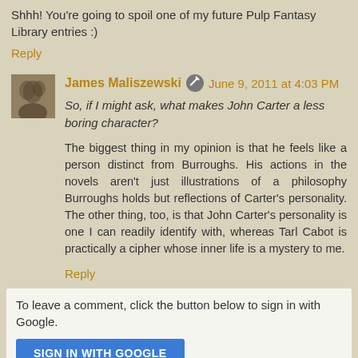Shhh! You're going to spoil one of my future Pulp Fantasy Library entries :)
Reply
James Maliszewski  June 9, 2011 at 4:03 PM
So, if I might ask, what makes John Carter a less boring character?
The biggest thing in my opinion is that he feels like a person distinct from Burroughs. His actions in the novels aren't just illustrations of a philosophy Burroughs holds but reflections of Carter's personality. The other thing, too, is that John Carter's personality is one I can readily identify with, whereas Tarl Cabot is practically a cipher whose inner life is a mystery to me.
Reply
To leave a comment, click the button below to sign in with Google.
SIGN IN WITH GOOGLE